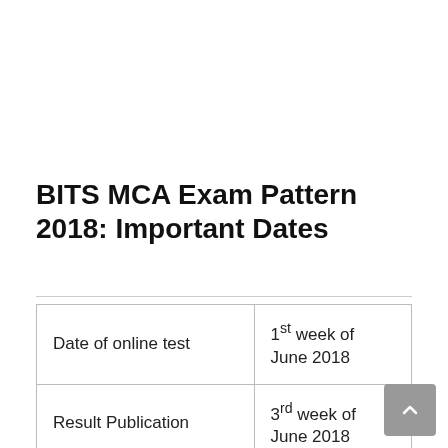BITS MCA Exam Pattern 2018: Important Dates
| Date of online test | 1st week of June 2018 |
| Result Publication | 3rd week of June 2018 |